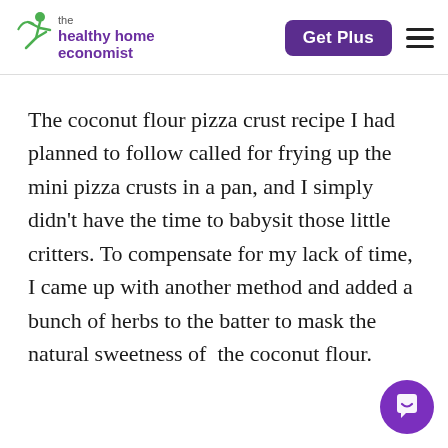the healthy home economist | Get Plus
The coconut flour pizza crust recipe I had planned to follow called for frying up the mini pizza crusts in a pan, and I simply didn't have the time to babysit those little critters. To compensate for my lack of time, I came up with another method and added a bunch of herbs to the batter to mask the natural sweetness of the coconut flour.